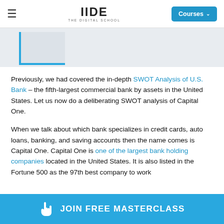IIDE – THE DIGITAL SCHOOL | Courses
[Figure (screenshot): Partial screenshot of a banner or image strip with a blue L-shaped border element on a light gray background]
Previously, we had covered the in-depth SWOT Analysis of U.S. Bank – the fifth-largest commercial bank by assets in the United States. Let us now do a deliberating SWOT analysis of Capital One.
When we talk about which bank specializes in credit cards, auto loans, banking, and saving accounts then the name comes is Capital One. Capital One is one of the largest bank holding companies located in the United States. It is also listed in the Fortune 500 as the 97th best company to work
JOIN FREE MASTERCLASS